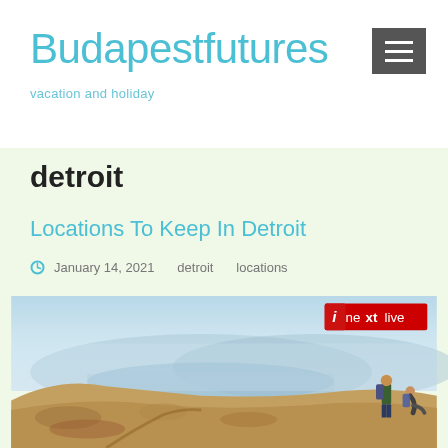Budapestfutures — vacation and holiday
detroit
Locations To Keep In Detroit
January 14, 2021   detroit   locations
[Figure (photo): Panoramic landscape photo showing a hilltop viewpoint with rocky terrain, a hazy valley and lake in the background, and two hikers/visitors visible on the right side. A red and white 'inextlive' watermark logo appears in the upper right corner of the image.]